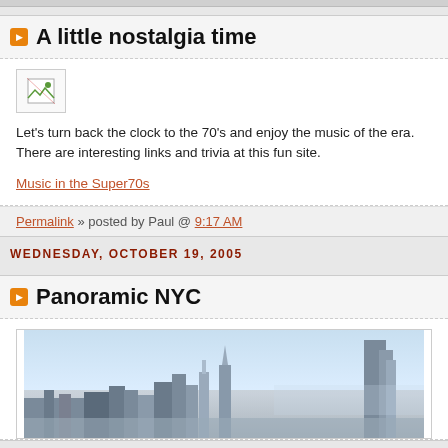A little nostalgia time
[Figure (illustration): Broken/placeholder image icon]
Let's turn back the clock to the 70's and enjoy the music of the era. There are interesting links and trivia at this fun site.
Music in the Super70s
Permalink » posted by Paul @ 9:17 AM
WEDNESDAY, OCTOBER 19, 2005
Panoramic NYC
[Figure (photo): Panoramic aerial photograph of New York City skyline showing skyscrapers including the Chrysler Building]